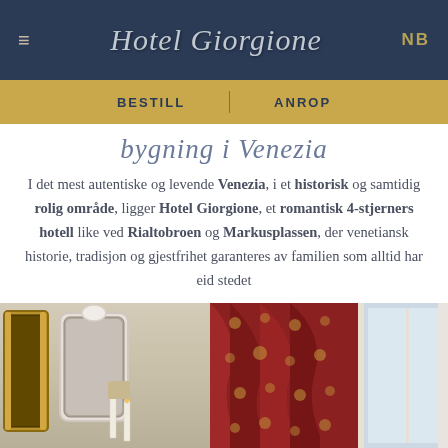Hotel Giorgione
BESTILL   |   ANROP
bygning i Venezia
I det mest autentiske og levende Venezia, i et historisk og samtidig rolig område, ligger Hotel Giorgione, et romantisk 4-stjerners hotell like ved Rialtobroen og Markusplassen, der venetiansk historie, tradisjon og gjestfrihet garanteres av familien som alltid har eid stedet
[Figure (photo): Interior of Hotel Giorgione showing ornate decor: gold framed mirror on the left, white decorative mirror, candles, and rich red brocade curtain with damask pattern on the right side with a window]